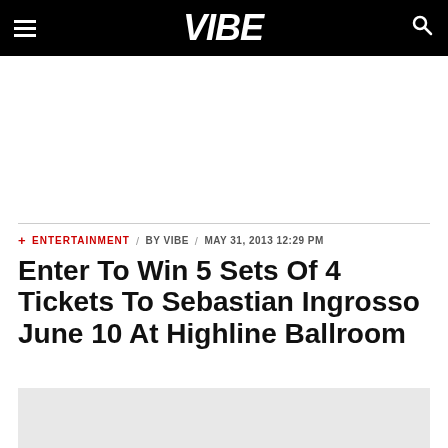VIBE
+ ENTERTAINMENT / BY VIBE / MAY 31, 2013 12:29 PM
Enter To Win 5 Sets Of 4 Tickets To Sebastian Ingrosso June 10 At Highline Ballroom
[Figure (other): Gray placeholder image area at bottom of page]